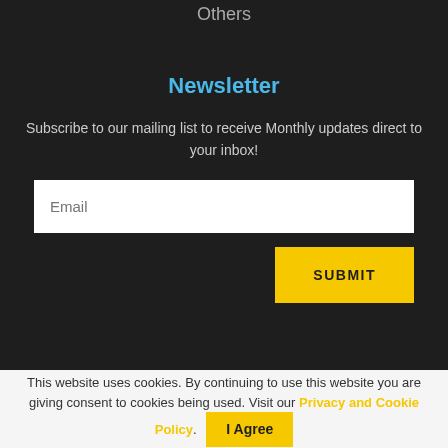Others
Newsletter
Subscribe to our mailing list to receive Monthly updates direct to your inbox!
Email
SUBMIT
This website uses cookies. By continuing to use this website you are giving consent to cookies being used. Visit our Privacy and Cookie Policy.
I Agree